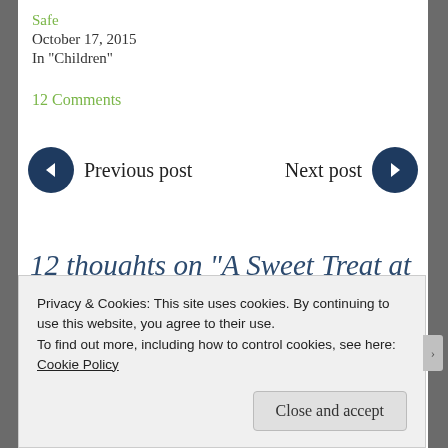Safe
October 17, 2015
In "Children"
12 Comments
Previous post
Next post
12 thoughts on “A Sweet Treat at Every Stop”
Privacy & Cookies: This site uses cookies. By continuing to use this website, you agree to their use.
To find out more, including how to control cookies, see here:
Cookie Policy
Close and accept